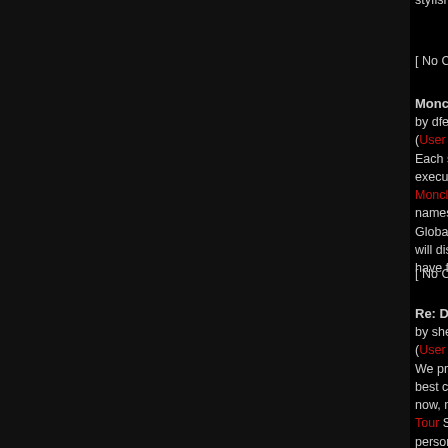styfish design and decoration which attract the people. http://w...
[ No Comments Allowed for Anonymous, please register ]
Moncler Jackets (Score: 1)
by dfer on Friday, September 09 @ 02:06:58 BST
(User Info | Send a Message) http://www.drdrebeatsphones.co...
Each season, winter Moncler Jackets are showed from the wo... executives and key decision makers of leading apparel compa... Moncler Sale includes moncler coats, mnocler jackets, moncle... names from the worlds of television, music and fashion. Speak... Global Head of Fashion Brand Moncler Mens for internet powe... will discuss how the internet and technology innovations acros... have forever changed the way consumers shop on http://www....
[ No Comments Allowed for Anonymous, please register ]
Re: Detonate.Net services (Score: 1)
by shenjun123 on Friday, September 09 @ 12:11:25 BST
(User Info | Send a Message) http://www.cheapdrbeats.com/
We provide all kinds of monster beats headphones, Monster Be... best choice. Putting on the beautiful headphones, Dr Dre Beat... now, more and more people set out to ask-what company of h... Tour Style headphones, Butterfly Beats Headphones but whirlw... person parade in the streets of their defeat those monster earp... organization didn't even look to their product shall be monster ... news flash conference donning his facilities, monster beat he c... colossal headphones, has the high place, Ferrari Beats Studio... observe the launching? In that sports route and entertainment... cheap beats by dre. Keep coming back, when athletes Graffit... in the world to receive off that monster in the rhythm in the car... her neck of the guitar.
As is used to my roommate which may some day music almos... lots so intelligent noise canceled that beats to attentiveness w... in to products interact and several fear, actor or actress and m... Wear clothes beat along. Monster place very perform studio...